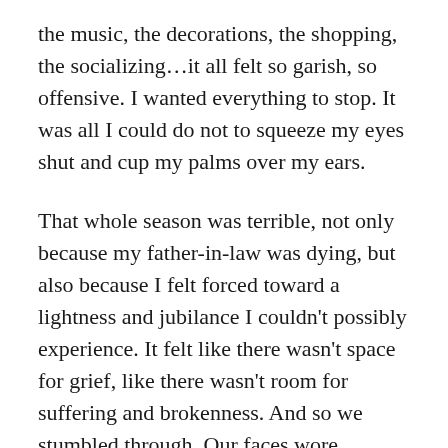the music, the decorations, the shopping, the socializing…it all felt so garish, so offensive. I wanted everything to stop. It was all I could do not to squeeze my eyes shut and cup my palms over my ears.
That whole season was terrible, not only because my father-in-law was dying, but also because I felt forced toward a lightness and jubilance I couldn't possibly experience. It felt like there wasn't space for grief, like there wasn't room for suffering and brokenness. And so we stumbled through. Our faces wore expressions appropriate to the season, but inside, our hearts were shattered.